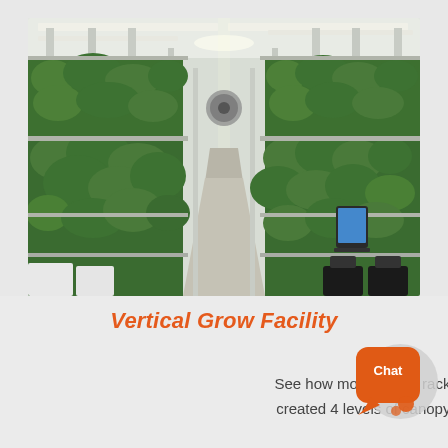[Figure (photo): Interior photo of a vertical grow facility showing tall multi-level metal racking systems with cannabis plants growing under LED lighting. The aisles run between shelving units, with multiple tiers of plants visible. The facility has industrial white metal shelving, overhead lighting in the ceiling, and a tablet/screen device visible on the right side.]
Vertical Grow Facility
See how mobile grow racks for medical ca... created 4 levels of canopy in an Oregon g...
[Figure (illustration): Orange chat bubble icon with the word Chat in white text and a speech bubble graphic]